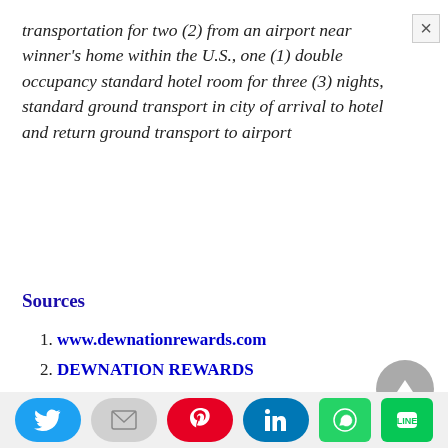transportation for two (2) from an airport near winner's home within the U.S., one (1) double occupancy standard hotel room for three (3) nights, standard ground transport in city of arrival to hotel and return ground transport to airport
Sources
1. www.dewnationrewards.com
2. DEWNATION REWARDS
Other Must Enter Sweepstakes?
[Figure (other): Social sharing bar with Twitter, email, Pinterest, LinkedIn, WhatsApp, and LINE buttons]